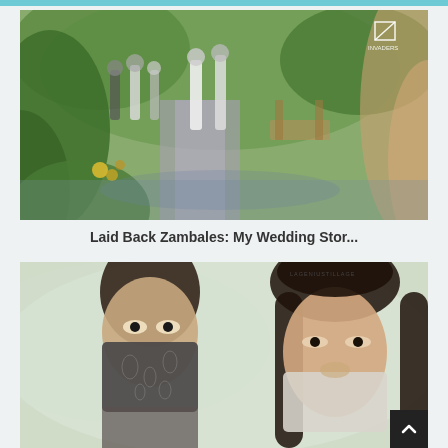[Figure (photo): Outdoor wedding scene viewed through lush green foliage. People in white attire gathered along a garden path. A watermark logo visible in top right corner.]
Laid Back Zambales: My Wedding Stor...
[Figure (photo): Close-up portrait of a man and woman. The man has dark hair and is wearing a patterned bandana/face covering over his nose and mouth. The woman has long dark hair and a light colored face mask. Background is misty/foggy. A watermark text is visible in the upper right area.]